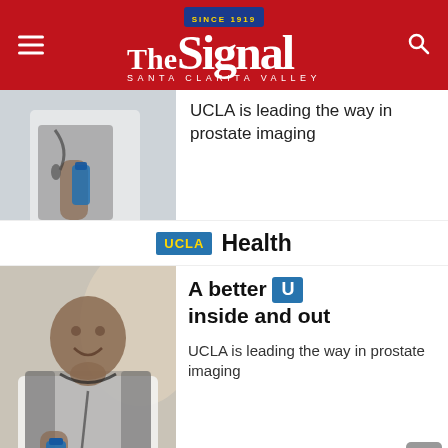The Signal — Santa Clarita Valley
[Figure (photo): Partial view of a man holding a jump rope and water bottle, cropped article thumbnail]
UCLA is leading the way in prostate imaging
[Figure (logo): UCLA Health logo — blue UCLA box with Health text]
[Figure (photo): Smiling middle-aged man holding a jump rope and water bottle, UCLA Health advertisement]
A better U inside and out
UCLA is leading the way in prostate imaging
[Figure (logo): UCLA Health logo — partially visible at bottom]